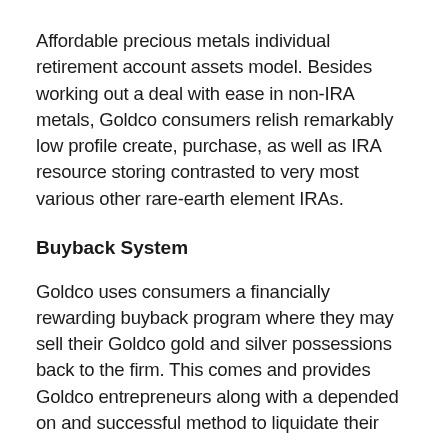Affordable precious metals individual retirement account assets model. Besides working out a deal with ease in non-IRA metals, Goldco consumers relish remarkably low profile create, purchase, as well as IRA resource storing contrasted to very most various other rare-earth element IRAs.
Buyback System
Goldco uses consumers a financially rewarding buyback program where they may sell their Goldco gold and silver possessions back to the firm. This comes and provides Goldco entrepreneurs along with a depended on and successful method to liquidate their